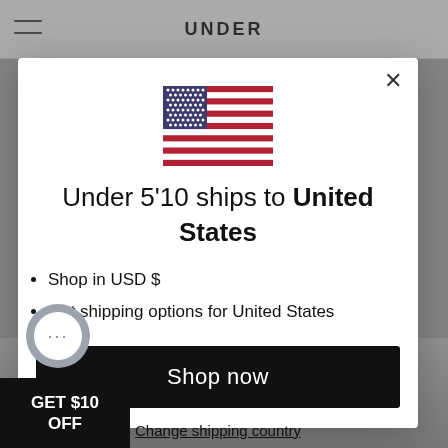[Figure (screenshot): Screenshot of a website popup/modal dialog for Under 5'10 brand showing shipping country selection with US flag, bullet points, and shop now button]
UNDER
Under 5'10 ships to United States
Shop in USD $
Get shipping options for United States
Shop now
Change shipping country
GET $10 OFF